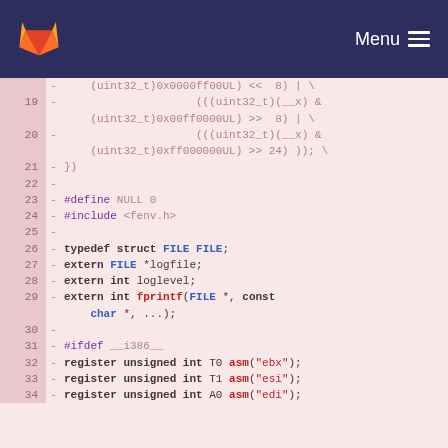GitLab logo | Menu
[Figure (screenshot): Code diff view showing removed lines 19-34 of a C header file with syntax highlighting on pink/red background]
19   -   (((uint32_t)(__x) & (uint32_t)0x00ff0000UL) >>  8) | \
20   -   (((uint32_t)(__x) & (uint32_t)0xff000000UL) >> 24) )); \
21   - })
22   -
23   - #define NULL 0
24   - #include <fenv.h>
25   -
26   - typedef struct FILE FILE;
27   - extern FILE *logfile;
28   - extern int loglevel;
29   - extern int fprintf(FILE *, const char *, ...);
30   -
31   - #ifdef __i386__
32   - register unsigned int T0 asm("ebx");
33   - register unsigned int T1 asm("esi");
34   - register unsigned int A0 asm("edi");